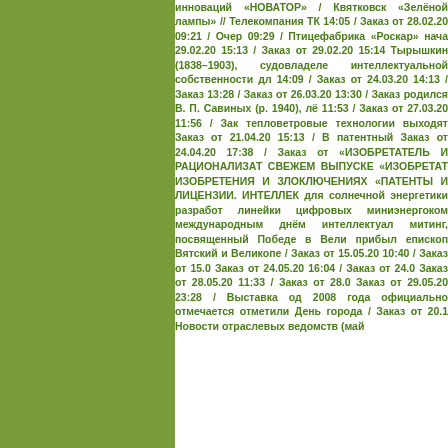[Figure (other): Solid olive/green colored rectangle panel on the left side of the page]
инноваций «НОВАТОР» / Квятковск «Зелёной лампы» // Телекомпания ТК 14:05 / Заказ от 28.02.20 09:21 / Очер 09:29 / Птицефабрика «Роскар» нача 29.02.20 15:13 / Заказ от 29.02.20 15:14 Тырышкин (1838–1903), судовладеле интеллектуальной собственности дл 14:09 / Заказ от 24.03.20 14:13 / Заказ 13:28 / Заказ от 26.03.20 13:30 / Заказ родился В. П. Савиных (р. 1940), лё 11:53 / Заказ от 27.03.20 11:56 / Зак тепловетровые технологии выходят Заказ от 21.04.20 15:13 / В патентный Заказ от 24.04.20 17:38 / Заказ от «ИЗОБРЕТАТЕЛЬ И РАЦИОНАЛИЗАТ СВЕЖЕМ ВЫПУСКЕ «ИЗОБРЕТАТ ИЗОБРЕТЕНИЯ И ЗЛОКЛЮЧЕНИЯХ «ПАТЕНТЫ И ЛИЦЕНЗИИ. ИНТЕЛЛЕК для солнечной энергетики разработ линейки цифровых миниэнергоком международным днём интеллектуал митинг, посвященный Победе в Вели прибыл епископ Вятский и Великопе / Заказ от 15.05.20 10:40 / Заказ от 15.0 Заказ от 24.05.20 16:04 / Заказ от 24.0 Заказ от 28.05.20 11:33 / Заказ от 28.0 Заказ от 29.05.20 23:28 / Выставка од 2008 года официально отмечается отметили День города / Заказ от 20.1 Новости отраслевых ведомств (май